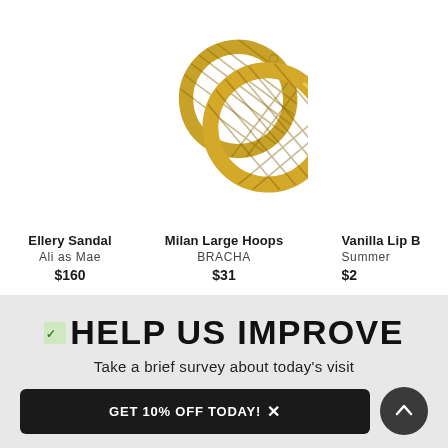[Figure (photo): Gold twisted Milan large hoop earrings, shown as a pair against white background]
Ellery Sandal
Ali as Mae
$160
Milan Large Hoops
BRACHA
$31
Vanilla Lip B
Summer
$2
HELP US IMPROVE
Take a brief survey about today's visit
GET 10% OFF TODAY!